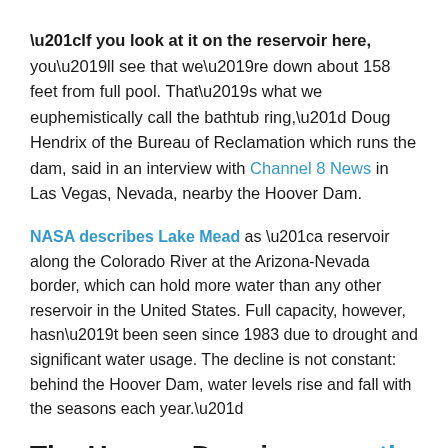“If you look at it on the reservoir here, you’ll see that we’re down about 158 feet from full pool. That’s what we euphemistically call the bathtub ring,” Doug Hendrix of the Bureau of Reclamation which runs the dam, said in an interview with Channel 8 News in Las Vegas, Nevada, nearby the Hoover Dam.
NASA describes Lake Mead as “a reservoir along the Colorado River at the Arizona-Nevada border, which can hold more water than any other reservoir in the United States. Full capacity, however, hasn’t been seen since 1983 due to drought and significant water usage. The decline is not constant: behind the Hoover Dam, water levels rise and fall with the seasons each year.”
The Hoover Dam is currently celebrating its 90th year.